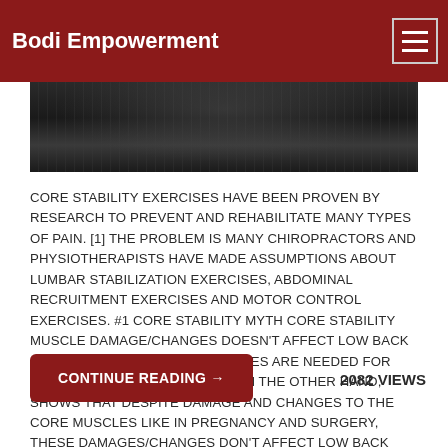Bodi Empowerment
[Figure (photo): Dark black and white photo of a person swimming or in water, viewed from above]
CORE STABILITY EXERCISES HAVE BEEN PROVEN BY RESEARCH TO PREVENT AND REHABILITATE MANY TYPES OF PAIN. [1] THE PROBLEM IS MANY CHIROPRACTORS AND PHYSIOTHERAPISTS HAVE MADE ASSUMPTIONS ABOUT LUMBAR STABILIZATION EXERCISES, ABDOMINAL RECRUITMENT EXERCISES AND MOTOR CONTROL EXERCISES. #1 CORE STABILITY MYTH CORE STABILITY MUSCLE DAMAGE/CHANGES DOESN'T AFFECT LOW BACK STABILITY OR PAIN. CORE MUSCLES ARE NEEDED FOR SPINAL STABILITY. RESEARCH, ON THE OTHER HAND, SHOWS THAT DESPITE DAMAGE AND CHANGES TO THE CORE MUSCLES LIKE IN PREGNANCY AND SURGERY, THESE DAMAGES/CHANGES DON'T AFFECT LOW BACK STABILITY OR PAIN. [1] THE HUGE AMOUNT OF RESEARCH AVAILABLE HAS NOT BEEN ABLE[...]
CONTINUE READING →
2082 VIEWS